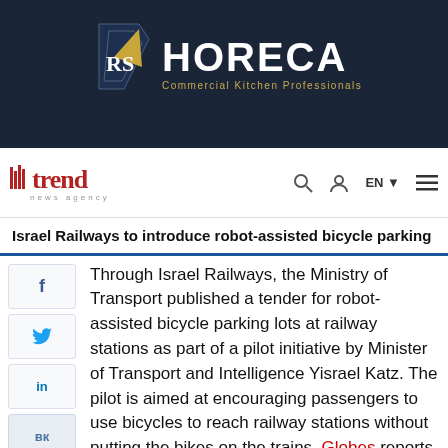[Figure (logo): HORECA Commercial Kitchen Professionals advertisement banner with dark navy background, shield logo with RS initials and gold triangle, white HORECA text in bold, gold subtitle text]
trend news agency — navigation bar with search, user, EN language selector, and hamburger menu icons
Israel Railways to introduce robot-assisted bicycle parking
Through Israel Railways, the Ministry of Transport published a tender for robot-assisted bicycle parking lots at railway stations as part of a pilot initiative by Minister of Transport and Intelligence Yisrael Katz. The pilot is aimed at encouraging passengers to use bicycles to reach railway stations without putting the bikes on the trains, Globes reports.
Putting bicycles into railway carriages